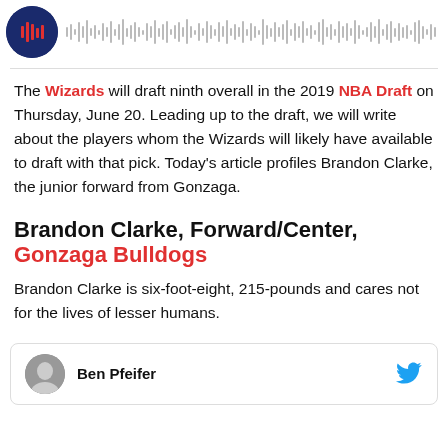[Figure (other): Podcast player bar with circular show icon and audio waveform visualization]
The Wizards will draft ninth overall in the 2019 NBA Draft on Thursday, June 20. Leading up to the draft, we will write about the players whom the Wizards will likely have available to draft with that pick. Today's article profiles Brandon Clarke, the junior forward from Gonzaga.
Brandon Clarke, Forward/Center, Gonzaga Bulldogs
Brandon Clarke is six-foot-eight, 215-pounds and cares not for the lives of lesser humans.
Ben Pfeifer